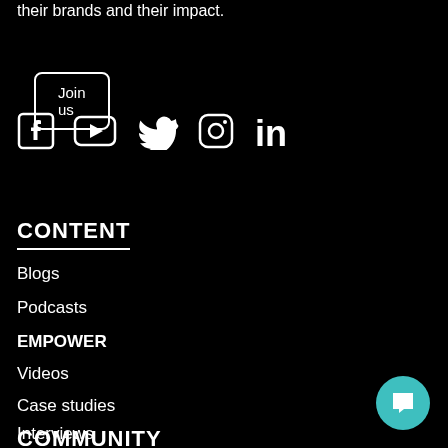their brands and their impact.
Join us
[Figure (other): Social media icons: Facebook, YouTube, Twitter, Instagram, LinkedIn]
CONTENT
Blogs
Podcasts
EMPOWER
Videos
Case studies
Interviews
COMMUNITY